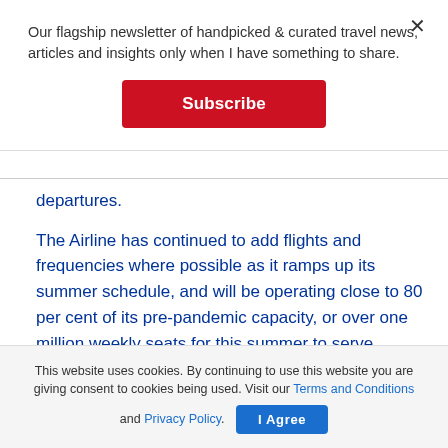Our flagship newsletter of handpicked & curated travel news, articles and insights only when I have something to share.
[Figure (other): Red 'Subscribe' button]
departures.
The Airline has continued to add flights and frequencies where possible as it ramps up its summer schedule, and will be operating close to 80 per cent of its pre-pandemic capacity, or over one million weekly seats for this summer to serve demand, the statement added.
This website uses cookies. By continuing to use this website you are giving consent to cookies being used. Visit our Terms and Conditions and Privacy Policy.
[Figure (other): Blue 'I Agree' button]